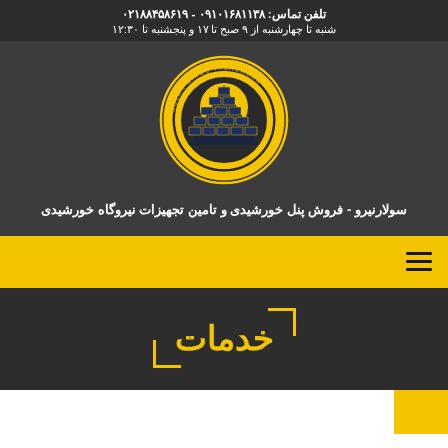تلفن تماس: ۰۹۱۰۱۶۸۱۱۳۸ - ۰۲۱۸۸۴۵۸۶۱۹
شنبه تا چهارشنبه از ۹ صبح تا ۱۷ و پنجشنبه تا ۱۲:۳۰
[Figure (logo): Solar Nirou Pishsazan circular logo with a yellow sun and dark solar panel pyramid in the center]
سولارنیرو - فروش پنل خورشیدی و تامین تجهیزات نیروگاه خورشیدی
خدمات